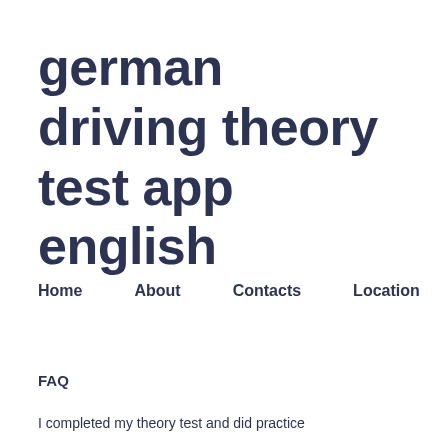german driving theory test app english
Home    About    Contacts    Location
FAQ
I completed my theory test and did practice